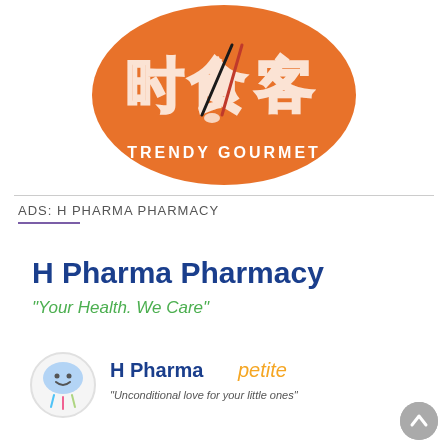[Figure (logo): Orange circular logo with Chinese characters and 'TRENDY GOURMET' text with chopstick graphic design]
ADS: H PHARMA PHARMACY
[Figure (logo): H Pharma Pharmacy logo with tagline 'Your Health. We Care'' in blue and green, plus H Pharma Petite sub-brand with cloud mascot and tagline 'Unconditional love for your little ones']